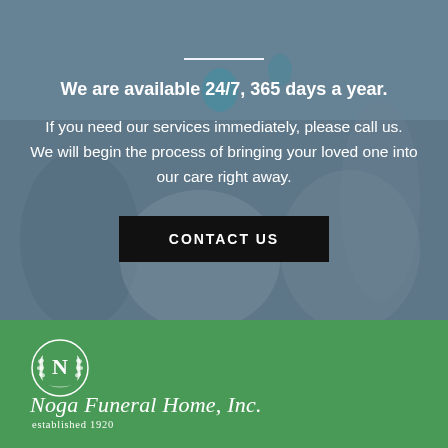[Figure (photo): Blurred outdoor background photo with people and flags, overlaid with a semi-transparent blue-grey color wash]
We are available 24/7, 365 days a year.
If you need our services immediately, please call us. We will begin the process of bringing your loved one into our care right away.
CONTACT US
[Figure (logo): Noga Funeral Home Inc. logo emblem with wreath and letter N]
Noga Funeral Home, Inc.
established 1920